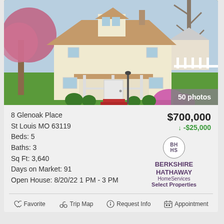[Figure (photo): Exterior photo of a two-story craftsman-style house with a front porch, red stairs, flowering trees, and green lawn. Spring setting.]
50 photos
8 Glenoak Place
St Louis MO 63119
Beds: 5
Baths: 3
Sq Ft: 3,640
Days on Market: 91
Open House: 8/20/22 1 PM - 3 PM
$700,000
↓ -$25,000
[Figure (logo): Berkshire Hathaway HomeServices Select Properties logo with circular BH/HS emblem]
♡ Favorite   Trip Map   ⓘ Request Info   📅 Appointment